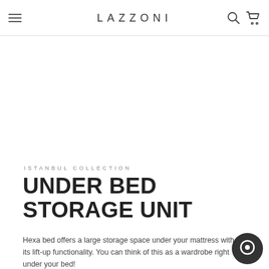LAZZONI
[Figure (other): White blank product image area]
ISTANBUL COLLECTION
UNDER BED STORAGE UNIT
Hexa bed offers a large storage space under your mattress with its lift-up functionality. You can think of this as a wardrobe right under your bed!